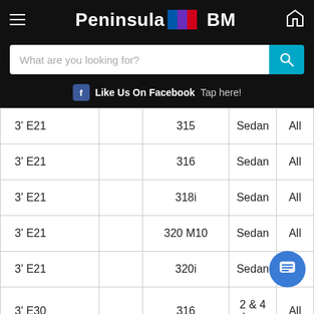Peninsula BM
What are you looking for?
Like Us On Facebook  Tap here!
|  |  |  |  |  |
| --- | --- | --- | --- | --- |
| 3' E21 |  | 315 | Sedan | All |
| 3' E21 |  | 316 | Sedan | All |
| 3' E21 |  | 318i | Sedan | All |
| 3' E21 |  | 320 M10 | Sedan | All |
| 3' E21 |  | 320i | Sedan |  |
| 3' E30 |  | 316 | 2 & 4 doors | All |